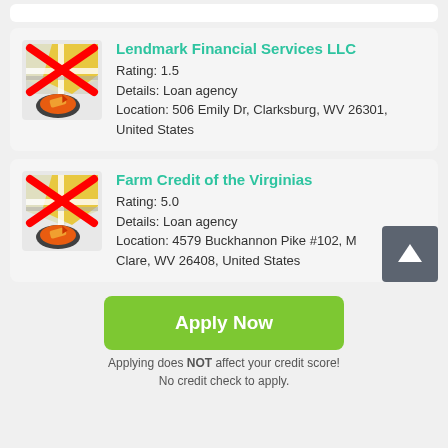[Figure (screenshot): Lendmark Financial Services LLC listing card with map icon crossed out in red, rating 1.5, loan agency, location in Clarksburg WV]
Lendmark Financial Services LLC
Rating: 1.5
Details: Loan agency
Location: 506 Emily Dr, Clarksburg, WV 26301, United States
[Figure (screenshot): Farm Credit of the Virginias listing card with map icon crossed out in red, rating 5.0, loan agency, location 4579 Buckhannon Pike #102, M Clare WV 26408]
Farm Credit of the Virginias
Rating: 5.0
Details: Loan agency
Location: 4579 Buckhannon Pike #102, M Clare, WV 26408, United States
Apply Now
Applying does NOT affect your credit score!
No credit check to apply.